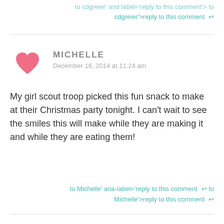cdgreier'>reply to this comment ↩
MICHELLE
December 16, 2014 at 11:24 am
My girl scout troop picked this fun snack to make at their Christmas party tonight. I can't wait to see the smiles this will make while they are making it and while they are eating them!
to Michelle' aria-label='reply to this comment ↩ to Michelle'>reply to this comment ↩